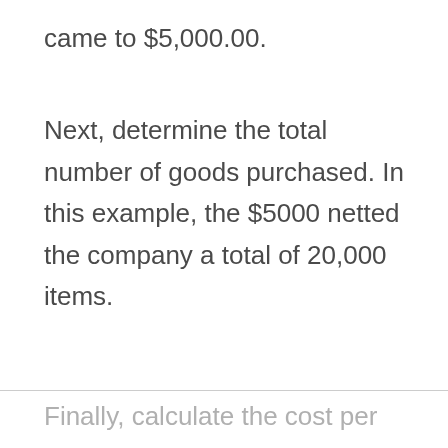came to $5,000.00.
Next, determine the total number of goods purchased. In this example, the $5000 netted the company a total of 20,000 items.
Finally, calculate the cost per thousand